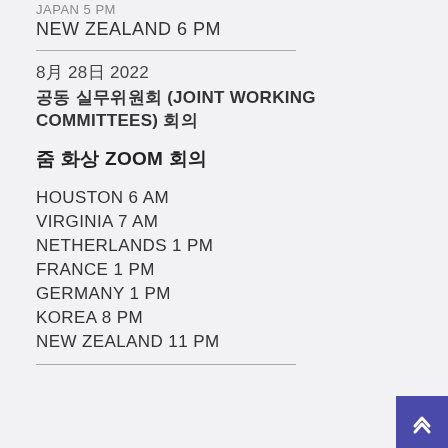NEW ZEALAND 6 PM
8月 28日 2022
공동 실무위원회 (JOINT WORKING COMMITTEES) 회의
줌 화상 ZOOM 회의
HOUSTON 6 AM
VIRGINIA 7 AM
NETHERLANDS 1 PM
FRANCE 1 PM
GERMANY 1 PM
KOREA 8 PM
NEW ZEALAND 11 PM